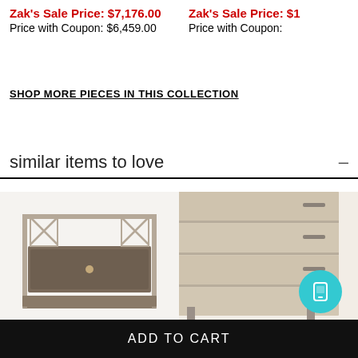Zak's Sale Price: $7,176.00
Price with Coupon: $6,459.00
Zak's Sale Price: $1...
Price with Coupon:
SHOP MORE PIECES IN THIS COLLECTION
similar items to love
[Figure (photo): Nightstand with metal frame and one drawer with bottom shelf, side table furniture]
[Figure (photo): Light wood dresser with multiple drawers on metal legs, partial view]
ADD TO CART